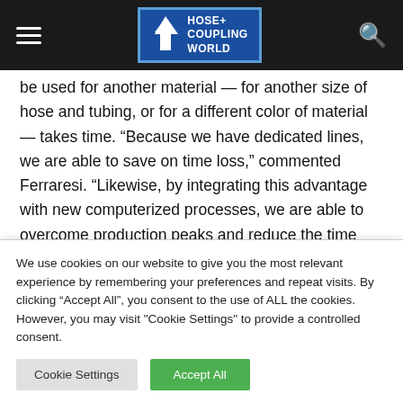Hose+ Coupling World
be used for another material — for another size of hose and tubing, or for a different color of material — takes time. “Because we have dedicated lines, we are able to save on time loss,” commented Ferraresi. “Likewise, by integrating this advantage with new computerized processes, we are able to overcome production peaks and reduce the time required to fulfill orders, no matter where they come from in the world. This flexibility in order fulfillment provides us with
We use cookies on our website to give you the most relevant experience by remembering your preferences and repeat visits. By clicking “Accept All”, you consent to the use of ALL the cookies. However, you may visit "Cookie Settings" to provide a controlled consent.